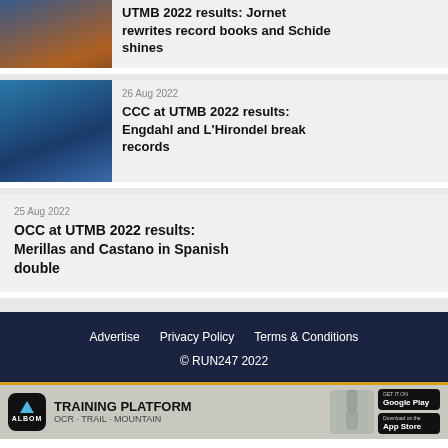[Figure (photo): Runner crossing finish line at UTMB race with crowd in background]
UTMB 2022 results: Jornet rewrites record books and Schide shines
[Figure (photo): Male runner with arms raised celebrating at CCC UTMB 2022 finish]
26 Aug 2022
CCC at UTMB 2022 results: Engdahl and L'Hirondel break records
25 Aug 2022
OCC at UTMB 2022 results: Merillas and Castano in Spanish double
Advertise   Privacy Policy   Terms & Conditions
© RUN247 2022
[Figure (infographic): ALBOM Training Platform advertisement banner with Google Play and App Store download buttons. OCR · TRAIL · MOUNTAIN]